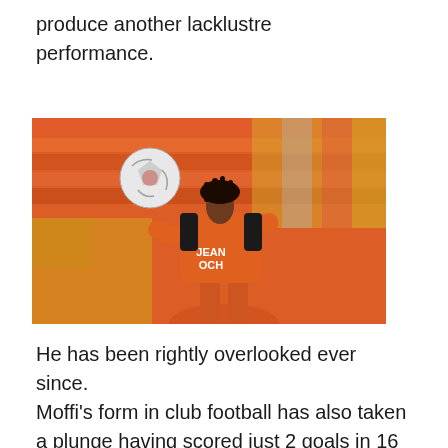produce another lacklustre performance.
[Figure (photo): A footballer wearing an orange and black jersey with 'JEAN OCH' sponsor text, controlling or heading a football, with stadium seats visible in the background.]
He has been rightly overlooked ever since.
Moffi's form in club football has also taken a plunge having scored just 2 goals in 16 league games this season